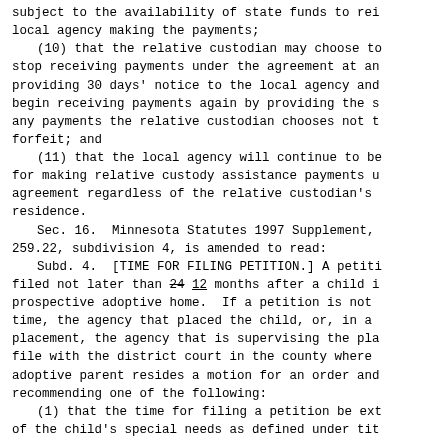subject to the availability of state funds to rei local agency making the payments;
    (10) that the relative custodian may choose to stop receiving payments under the agreement at an providing 30 days' notice to the local agency and begin receiving payments again by providing the s any payments the relative custodian chooses not t forfeit; and
    (11) that the local agency will continue to be for making relative custody assistance payments u agreement regardless of the relative custodian's residence.
    Sec. 16.  Minnesota Statutes 1997 Supplement, 259.22, subdivision 4, is amended to read:
    Subd. 4.  [TIME FOR FILING PETITION.] A petiti filed not later than 24 12 months after a child i prospective adoptive home.  If a petition is not time, the agency that placed the child, or, in a placement, the agency that is supervising the pla file with the district court in the county where adoptive parent resides a motion for an order and recommending one of the following:
    (1) that the time for filing a petition be ext of the child's special needs as defined under tit